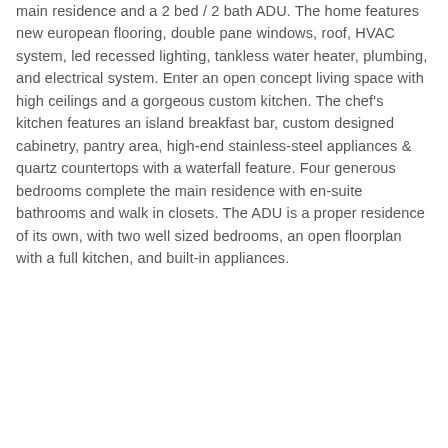main residence and a 2 bed / 2 bath ADU. The home features new european flooring, double pane windows, roof, HVAC system, led recessed lighting, tankless water heater, plumbing, and electrical system. Enter an open concept living space with high ceilings and a gorgeous custom kitchen. The chef's kitchen features an island breakfast bar, custom designed cabinetry, pantry area, high-end stainless-steel appliances & quartz countertops with a waterfall feature. Four generous bedrooms complete the main residence with en-suite bathrooms and walk in closets. The ADU is a proper residence of its own, with two well sized bedrooms, an open floorplan with a full kitchen, and built-in appliances.